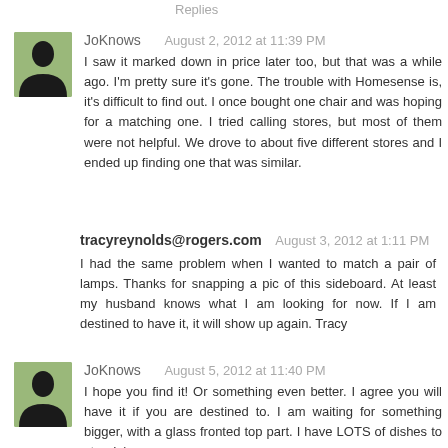Replies
JoKnows   August 2, 2012 at 11:39 PM
I saw it marked down in price later too, but that was a while ago. I'm pretty sure it's gone. The trouble with Homesense is, it's difficult to find out. I once bought one chair and was hoping for a matching one. I tried calling stores, but most of them were not helpful. We drove to about five different stores and I ended up finding one that was similar.
tracyreynolds@rogers.com   August 3, 2012 at 1:11 PM
I had the same problem when I wanted to match a pair of lamps. Thanks for snapping a pic of this sideboard. At least my husband knows what I am looking for now. If I am destined to have it, it will show up again. Tracy
JoKnows   August 5, 2012 at 11:40 PM
I hope you find it! Or something even better. I agree you will have it if you are destined to. I am waiting for something bigger, with a glass fronted top part. I have LOTS of dishes to store! :)